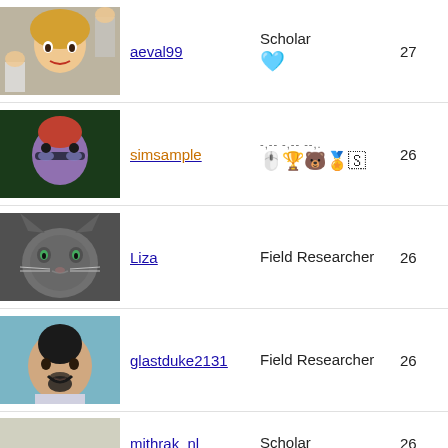[Figure (photo): Avatar of aeval99 - animated female Sims character with blonde hair and raised hands]
aeval99
Scholar
27
[Figure (photo): Avatar of simsample - Sims character with red hair and sunglasses]
simsample
-,-- -,-- --,. badges icons
26
[Figure (photo): Avatar of Liza - gray cat photo]
Liza
Field Researcher
26
[Figure (photo): Avatar of glastduke2131 - Sims male character with dark hair and beard]
glastduke2131
Field Researcher
26
mithrak_nl
Scholar
26